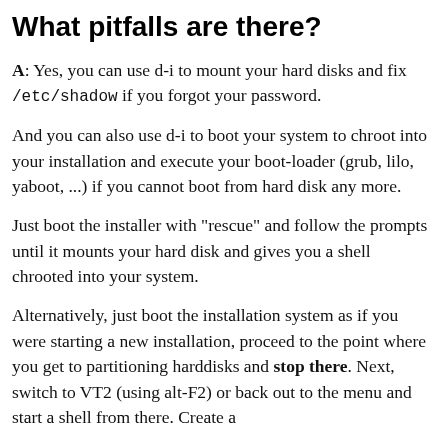What pitfalls are there?
A: Yes, you can use d-i to mount your hard disks and fix /etc/shadow if you forgot your password.
And you can also use d-i to boot your system to chroot into your installation and execute your boot-loader (grub, lilo, yaboot, ...) if you cannot boot from hard disk any more.
Just boot the installer with "rescue" and follow the prompts until it mounts your hard disk and gives you a shell chrooted into your system.
Alternatively, just boot the installation system as if you were starting a new installation, proceed to the point where you get to partitioning harddisks and stop there. Next, switch to VT2 (using alt-F2) or back out to the menu and start a shell from there. Create a directory...